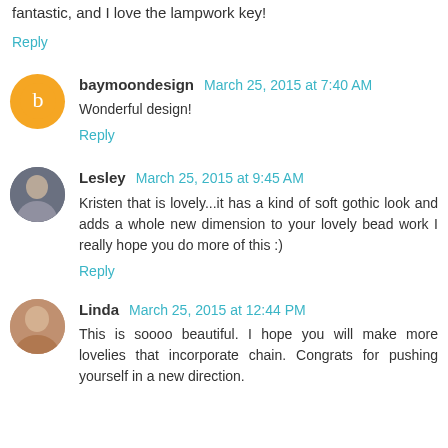fantastic, and I love the lampwork key!
Reply
baymoondesign March 25, 2015 at 7:40 AM
Wonderful design!
Reply
Lesley March 25, 2015 at 9:45 AM
Kristen that is lovely...it has a kind of soft gothic look and adds a whole new dimension to your lovely bead work I really hope you do more of this :)
Reply
Linda March 25, 2015 at 12:44 PM
This is soooo beautiful. I hope you will make more lovelies that incorporate chain. Congrats for pushing yourself in a new direction.